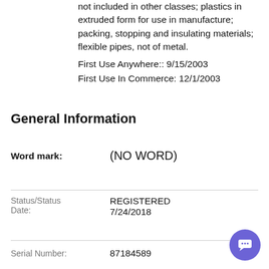not included in other classes; plastics in extruded form for use in manufacture; packing, stopping and insulating materials; flexible pipes, not of metal.
First Use Anywhere:: 9/15/2003
First Use In Commerce: 12/1/2003
General Information
| Field | Value |
| --- | --- |
| Word mark: | (NO WORD) |
| Status/Status Date: | REGISTERED
7/24/2018 |
| Serial Number: | 87184589 |